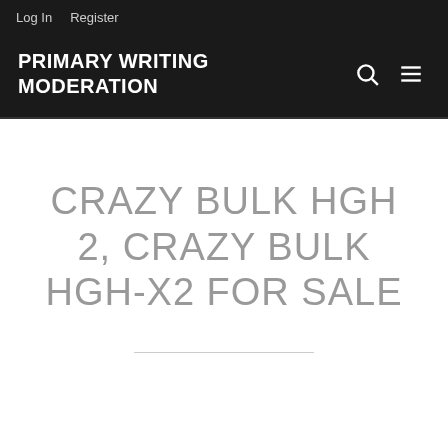Log In   Register
PRIMARY WRITING MODERATION
CRAZY BULK HGH 2, CRAZY BULK HGH-X2 FOR SALE